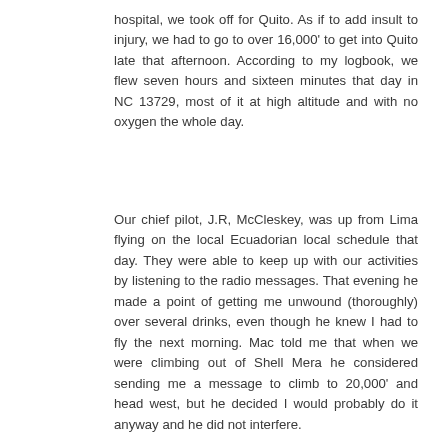hospital, we took off for Quito. As if to add insult to injury, we had to go to over 16,000' to get into Quito late that afternoon. According to my logbook, we flew seven hours and sixteen minutes that day in NC 13729, most of it at high altitude and with no oxygen the whole day.
Our chief pilot, J.R, McCleskey, was up from Lima flying on the local Ecuadorian local schedule that day. They were able to keep up with our activities by listening to the radio messages. That evening he made a point of getting me unwound (thoroughly) over several drinks, even though he knew I had to fly the next morning. Mac told me that when we were climbing out of Shell Mera he considered sending me a message to climb to 20,000' and head west, but he decided I would probably do it anyway and he did not interfere.